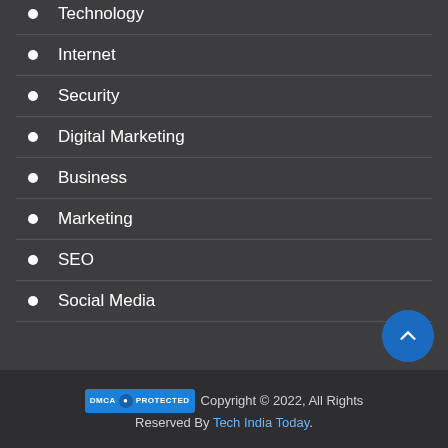Technology
Internet
Security
Digital Marketing
Business
Marketing
SEO
Social Media
DMCA PROTECTED Copyright © 2022, All Rights Reserved By Tech India Today.